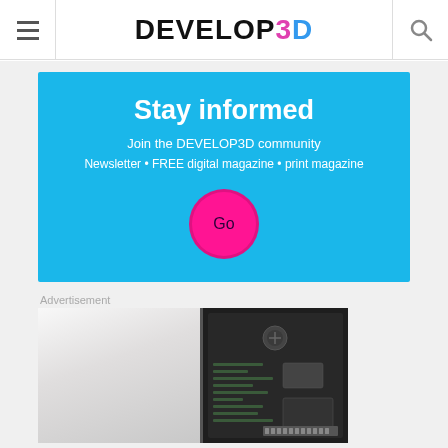DEVELOP3D
[Figure (infographic): Blue promotional banner with text 'Stay informed', 'Join the DEVELOP3D community', 'Newsletter • FREE digital magazine • print magazine', and a pink circular Go button]
Advertisement
[Figure (photo): Advertisement image showing a white object on left and a dark circuit board on the right]